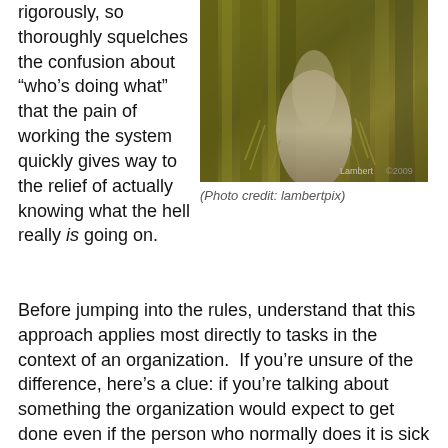rigorously, so thoroughly squelches the confusion about “who’s doing what” that the pain of working the system quickly gives way to the relief of actually knowing what the hell really is going on.
[Figure (photo): Blurred motion photograph of a forest path or stream with golden-green tones and bokeh effect. Photo credit: lambertpix]
(Photo credit: lambertpix)
Before jumping into the rules, understand that this approach applies most directly to tasks in the context of an organization.  If you’re unsure of the difference, here’s a clue: if you’re talking about something the organization would expect to get done even if the person who normally does it is sick or on vacation, then it’s an organizational task.  If it’s going to wait for you no matter how long you’re out of